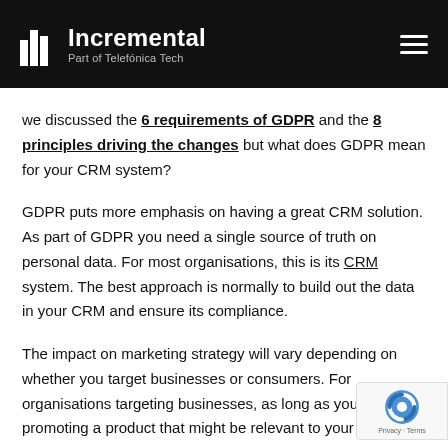Incremental – Part of Telefónica Tech
we discussed the 6 requirements of GDPR and the 8 principles driving the changes but what does GDPR mean for your CRM system?
GDPR puts more emphasis on having a great CRM solution. As part of GDPR you need a single source of truth on personal data. For most organisations, this is its CRM system. The best approach is normally to build out the data in your CRM and ensure its compliance.
The impact on marketing strategy will vary depending on whether you target businesses or consumers. For organisations targeting businesses, as long as you are promoting a product that might be relevant to your ta…